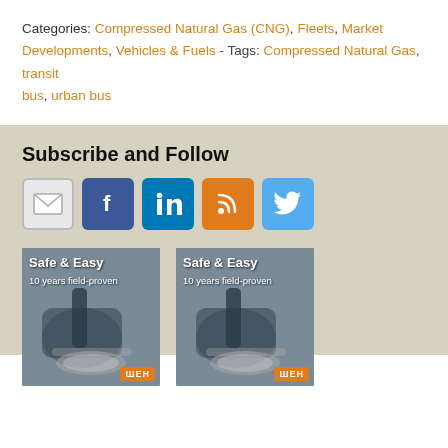Categories: Compressed Natural Gas (CNG), Fleets, Market Developments, Vehicles & Fuels - Tags: Compressed Natural Gas, transit bus, urban bus
Subscribe and Follow
[Figure (infographic): Social media and subscription icons: email (envelope), Facebook, LinkedIn, RSS feed, Twitter]
[Figure (photo): Advertisement image showing CNG fueling nozzle with text 'Safe & Easy 10 years field-proven' and WEN logo]
[Figure (photo): Advertisement image showing CNG fueling nozzle with text 'Safe & Easy 10 years field-proven' and WEN logo (duplicate)]